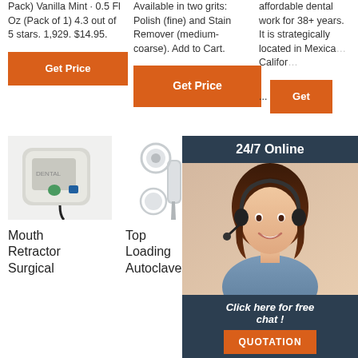Pack) Vanilla Mint · 0.5 Fl Oz (Pack of 1) 4.3 out of 5 stars. 1,929. $14.95.
Available in two grits: Polish (fine) and Stain Remover (medium-coarse). Add to Cart.
affordable dental work for 38+ years. It is strategically located in Mexican California ...
Get Price
Get Price
Get
[Figure (photo): 24/7 Online chat overlay with woman wearing headset and customer service interface showing QUOTATION button]
[Figure (photo): Mouth Retractor Surgical product image]
[Figure (photo): Top Loading Autoclaves product image showing dental handpiece/autoclave components]
[Figure (photo): Metro Dental (SM Megamall) product image]
Mouth Retractor Surgical
Top Loading Autoclaves
Metro Dental (SM Megamall)